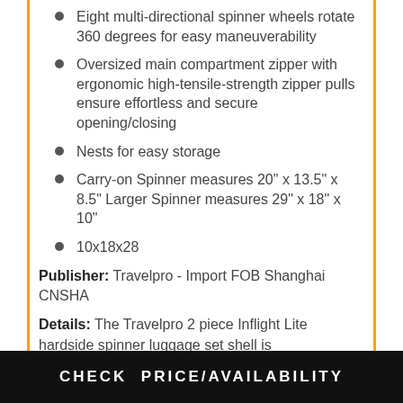Eight multi-directional spinner wheels rotate 360 degrees for easy maneuverability
Oversized main compartment zipper with ergonomic high-tensile-strength zipper pulls ensure effortless and secure opening/closing
Nests for easy storage
Carry-on Spinner measures 20" x 13.5" x 8.5" Larger Spinner measures 29" x 18" x 10"
10x18x28
Publisher: Travelpro - Import FOB Shanghai CNSHA
Details: The Travelpro 2 piece Inflight Lite hardside spinner luggage set shell is
CHECK PRICE/AVAILABILITY